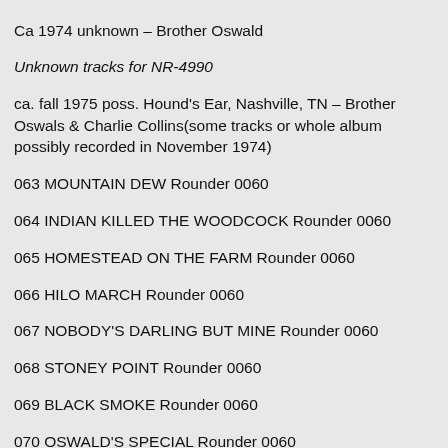Ca 1974 unknown – Brother Oswald
Unknown tracks for NR-4990
ca. fall 1975 poss. Hound's Ear, Nashville, TN – Brother Oswals & Charlie Collins(some tracks or whole album possibly recorded in November 1974)
063 MOUNTAIN DEW Rounder 0060
064 INDIAN KILLED THE WOODCOCK Rounder 0060
065 HOMESTEAD ON THE FARM Rounder 0060
066 HILO MARCH Rounder 0060
067 NOBODY'S DARLING BUT MINE Rounder 0060
068 STONEY POINT Rounder 0060
069 BLACK SMOKE Rounder 0060
070 OSWALD'S SPECIAL Rounder 0060
071 POLLY WOLLY DOODLE Rounder 0060
072 HILLS OF OLD KENTUCKY Rounder 0060
073 SNOWFLAKE REEL Rounder 0060
074 MOTHER THE QUEEN OF MY HEART Rounder 0060
075 LOO LOO'S NEST Rounder 0060
076 WHAT A FRIEND WE HAVE IN JESUS Rounder 0060
1977 Gusto Recording Studio, 3557 Dickerson Road,Nashville, TN – Brother Oswald
077 I'M SO LONESOME I COULD CRY Rounder 0080
078 I'M SO LONESOME DREAMIN' Rounder 0080